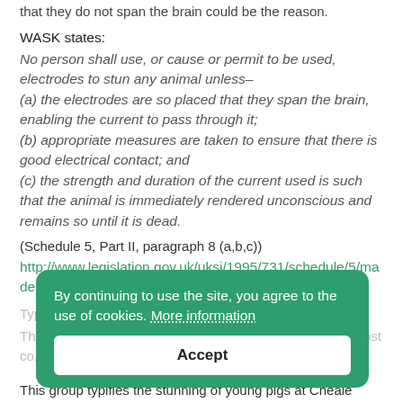that they do not span the brain could be the reason.
WASK states:
No person shall use, or cause or permit to be used, electrodes to stun any animal unless–
(a) the electrodes are so placed that they span the brain, enabling the current to pass through it;
(b) appropriate measures are taken to ensure that there is good electrical contact; and
(c) the strength and duration of the current used is such that the animal is immediately rendered unconscious and remains so until it is dead.
(Schedule 5, Part II, paragraph 8 (a,b,c))
http://www.legislation.gov.uk/uksi/1995/731/schedule/5/made
Typical group of young pigs being stunned (16:15)
The stun operator in this sequence is the one we deem most co...
[Figure (screenshot): Cookie consent overlay with green background. Text: 'By continuing to use the site, you agree to the use of cookies. More information'. Button: 'Accept']
This group typifies the stunning of young pigs at Cheale